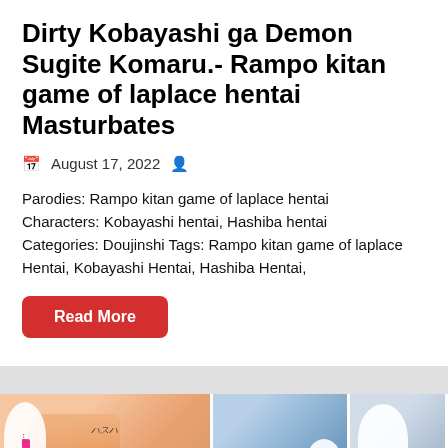Dirty Kobayashi ga Demon Sugite Komaru.- Rampo kitan game of laplace hentai Masturbates
August 17, 2022
Parodies: Rampo kitan game of laplace hentai Characters: Kobayashi hentai, Hashiba hentai Categories: Doujinshi Tags: Rampo kitan game of laplace Hentai, Kobayashi Hentai, Hashiba Hentai,
Read More
[Figure (illustration): Manga/doujinshi comic strip panels showing anime characters with speech bubbles containing Chinese text in pink]